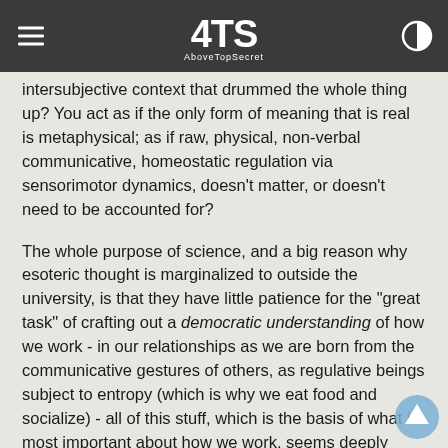AboveTopSecret (4TS logo)
intersubjective context that drummed the whole thing up? You act as if the only form of meaning that is real is metaphysical; as if raw, physical, non-verbal communicative, homeostatic regulation via sensorimotor dynamics, doesn't matter, or doesn't need to be accounted for?
The whole purpose of science, and a big reason why esoteric thought is marginalized to outside the university, is that they have little patience for the "great task" of crafting out a democratic understanding of how we work - in our relationships as we are born from the communicative gestures of others, as regulative beings subject to entropy (which is why we eat food and socialize) - all of this stuff, which is the basis of what is most important about how we work, seems deeply unimportant to the esotericist or mystic who seems preoccupied with abstract objects, dissociated from the needs of the living beings around them.
All in all, I am not against seeing the Hebrew Bible, or the claims of the kabbalists, as an interesting hypothesis, but hypotheses' are just theories that have not yet been confirmed by the empirical evidence. I myself would be lying